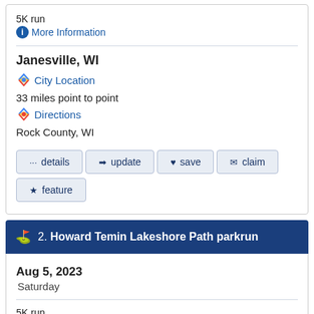5K run
More Information
Janesville, WI
City Location
33 miles point to point
Directions
Rock County, WI
details
update
save
claim
feature
2. Howard Temin Lakeshore Path parkrun
Aug 5, 2023
Saturday
5K run
More Information